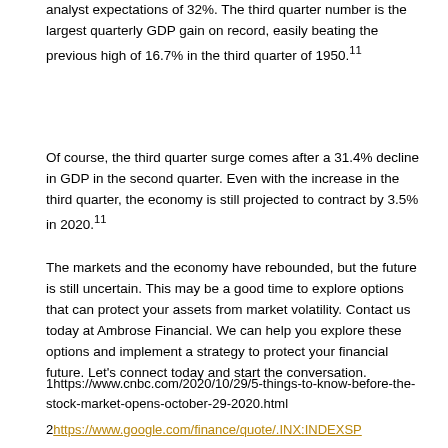analyst expectations of 32%. The third quarter number is the largest quarterly GDP gain on record, easily beating the previous high of 16.7% in the third quarter of 1950.11
Of course, the third quarter surge comes after a 31.4% decline in GDP in the second quarter. Even with the increase in the third quarter, the economy is still projected to contract by 3.5% in 2020.11
The markets and the economy have rebounded, but the future is still uncertain. This may be a good time to explore options that can protect your assets from market volatility. Contact us today at Ambrose Financial. We can help you explore these options and implement a strategy to protect your financial future. Let's connect today and start the conversation.
1https://www.cnbc.com/2020/10/29/5-things-to-know-before-the-stock-market-opens-october-29-2020.html
2https://www.google.com/finance/quote/.INX:INDEXSP